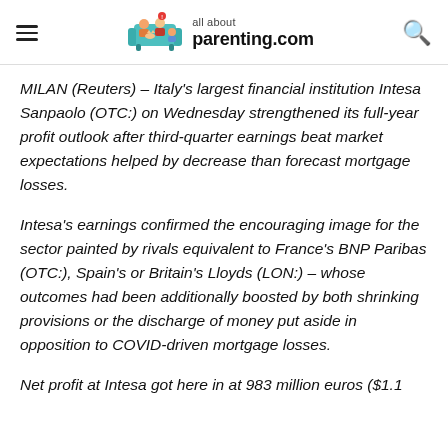all about parenting.com
MILAN (Reuters) – Italy's largest financial institution Intesa Sanpaolo (OTC:) on Wednesday strengthened its full-year profit outlook after third-quarter earnings beat market expectations helped by decrease than forecast mortgage losses.
Intesa's earnings confirmed the encouraging image for the sector painted by rivals equivalent to France's BNP Paribas (OTC:), Spain's or Britain's Lloyds (LON:) – whose outcomes had been additionally boosted by both shrinking provisions or the discharge of money put aside in opposition to COVID-driven mortgage losses.
Net profit at Intesa got here in at 983 million euros ($1.1